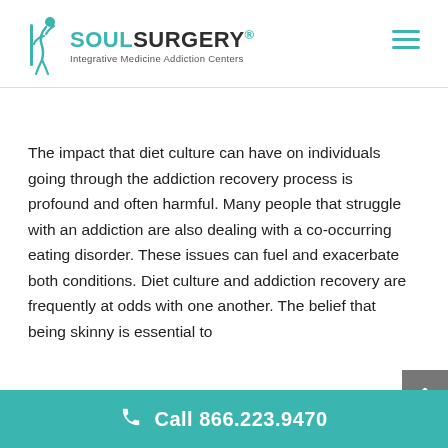[Figure (logo): Soul Surgery logo with teal figure icon, brand name SOULSURGERY and tagline Integrative Medicine Addiction Centers]
The impact that diet culture can have on individuals going through the addiction recovery process is profound and often harmful. Many people that struggle with an addiction are also dealing with a co-occurring eating disorder. These issues can fuel and exacerbate both conditions. Diet culture and addiction recovery are frequently at odds with one another. The belief that being skinny is essential to
Call 866.223.9470